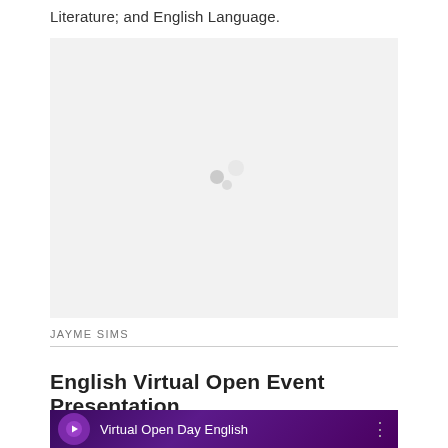Literature; and English Language.
[Figure (other): Blank/loading video placeholder with faint grey dots in center, light grey background]
JAYME SIMS
English Virtual Open Event Presentation
[Figure (screenshot): Dark purple video thumbnail showing circular logo icon and text 'Virtual Open Day English' with three dots menu icon on right]